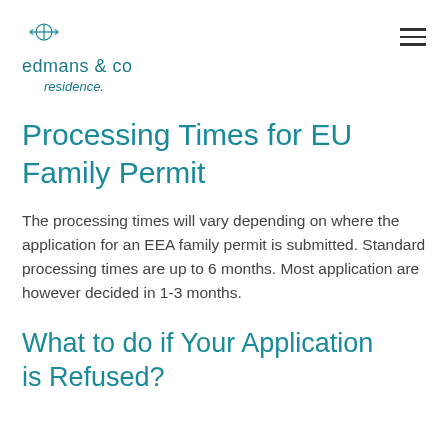edmans & co residence.
Processing Times for EU Family Permit
The processing times will vary depending on where the application for an EEA family permit is submitted. Standard processing times are up to 6 months. Most application are however decided in 1-3 months.
What to do if Your Application is Refused?